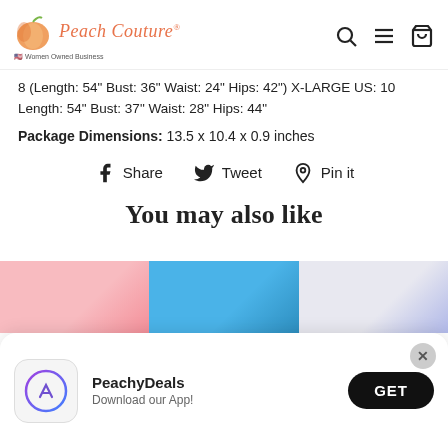Peach Couture — Women Owned Business
8 (Length: 54" Bust: 36" Waist: 24" Hips: 42") X-LARGE US: 10 Length: 54" Bust: 37" Waist: 28" Hips: 44"
Package Dimensions: 13.5 x 10.4 x 0.9 inches
Share   Tweet   Pin it
You may also like
PeachyDeals — Download our App! — GET